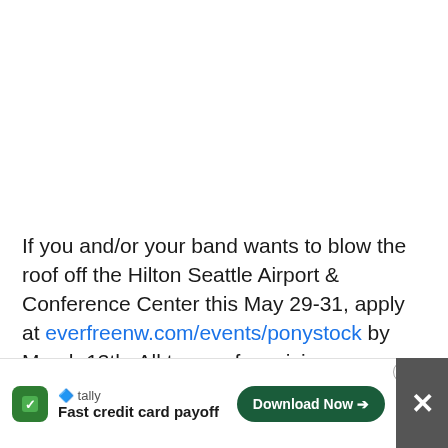If you and/or your band wants to blow the roof off the Hilton Seattle Airport & Conference Center this May 29-31, apply at everfreenw.com/events/ponystock by March 13th. All types of musicians are welcome, so if you're looking to play some awesome music to a great group of music lovers, send us that application!
Come make this year's Ponystock the best one ever! We can't wa...
[Figure (other): Advertisement overlay bar at bottom of page: Tally app ad with green icon, 'Fast credit card payoff' tagline, 'Download Now' button, close controls and a dark X button.]